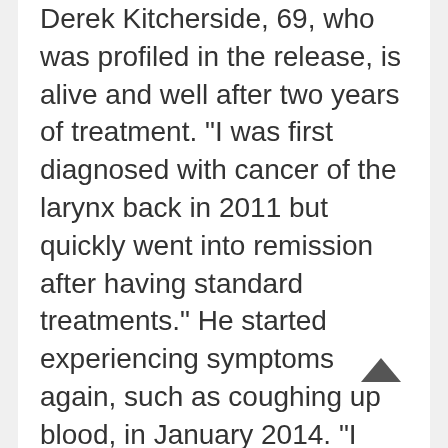Derek Kitcherside, 69, who was profiled in the release, is alive and well after two years of treatment. "I was first diagnosed with cancer of the larynx back in 2011 but quickly went into remission after having standard treatments." He started experiencing symptoms again, such as coughing up blood, in January 2014. "I thought it was the reoccurrence of the same cancer, but it turned out three or four tumours had spread to my right lung." He was diagnosed with head and neck SCC, "which was inoperable and probably incurable."

Kitcherside did not respond to